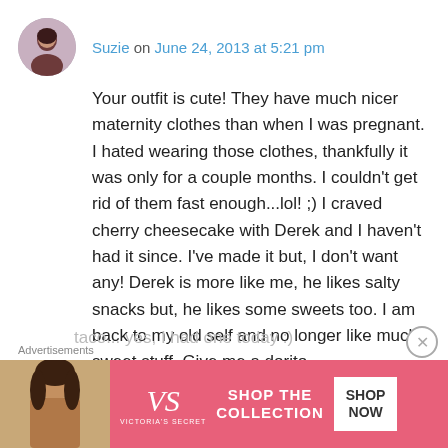Suzie on June 24, 2013 at 5:21 pm
Your outfit is cute! They have much nicer maternity clothes than when I was pregnant. I hated wearing those clothes, thankfully it was only for a couple months. I couldn't get rid of them fast enough...lol! ;) I craved cherry cheesecake with Derek and I haven't had it since. I've made it but, I don't want any! Derek is more like me, he likes salty snacks but, he likes some sweets too. I am back to my old self and no longer like much sweet stuff. Give me a dorito taco... yes, I had one today :)
Advertisements
[Figure (photo): Victoria's Secret advertisement banner with model, VS logo, SHOP THE COLLECTION text, and SHOP NOW button]